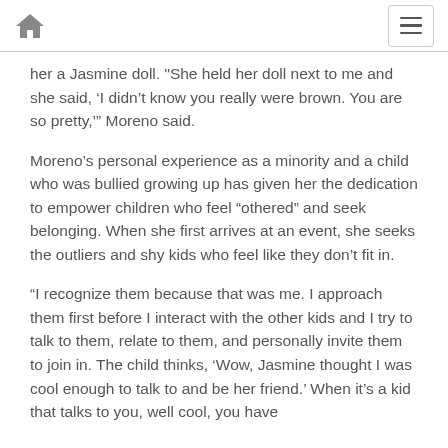[home icon] [menu icon]
her a Jasmine doll. "She held her doll next to me and she said, ‘I didn’t know you really were brown. You are so pretty,’” Moreno said.
Moreno’s personal experience as a minority and a child who was bullied growing up has given her the dedication to empower children who feel “othered” and seek belonging. When she first arrives at an event, she seeks the outliers and shy kids who feel like they don’t fit in.
“I recognize them because that was me. I approach them first before I interact with the other kids and I try to talk to them, relate to them, and personally invite them to join in. The child thinks, ‘Wow, Jasmine thought I was cool enough to talk to and be her friend.’ When it’s a kid that talks to you, well cool, you have